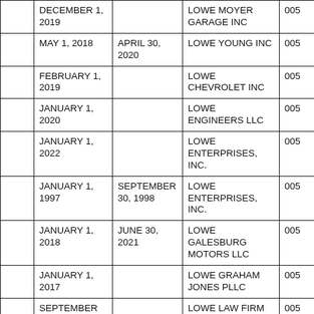|  | Start Date | End Date | Name | ID |
| --- | --- | --- | --- | --- |
|  | DECEMBER 1, 2019 |  | LOWE MOYER GARAGE INC | 005 |
|  | MAY 1, 2018 | APRIL 30, 2020 | LOWE YOUNG INC | 005 |
|  | FEBRUARY 1, 2019 |  | LOWE CHEVROLET INC | 005 |
|  | JANUARY 1, 2020 |  | LOWE ENGINEERS LLC | 005 |
|  | JANUARY 1, 2022 |  | LOWE ENTERPRISES, INC. | 005 |
|  | JANUARY 1, 1997 | SEPTEMBER 30, 1998 | LOWE ENTERPRISES, INC. | 005 |
|  | JANUARY 1, 2018 | JUNE 30, 2021 | LOWE GALESBURG MOTORS LLC | 005 |
|  | JANUARY 1, 2017 |  | LOWE GRAHAM JONES PLLC | 005 |
|  | SEPTEMBER 1, 2019 |  | LOWE LAW FIRM | 005 |
|  | DECEMBER... |  | LOWE... | 005 |